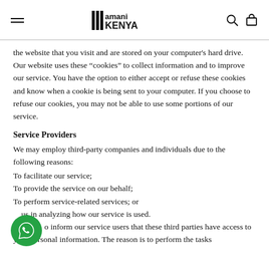amani KENYA
the website that you visit and are stored on your computer's hard drive. Our website uses these “cookies” to collect information and to improve our service. You have the option to either accept or refuse these cookies and know when a cookie is being sent to your computer. If you choose to refuse our cookies, you may not be able to use some portions of our service.
Service Providers
We may employ third-party companies and individuals due to the following reasons:
To facilitate our service;
To provide the service on our behalf;
To perform service-related services; or
To assist us in analyzing how our service is used.
We want to inform our service users that these third parties have access to your personal information. The reason is to perform the tasks